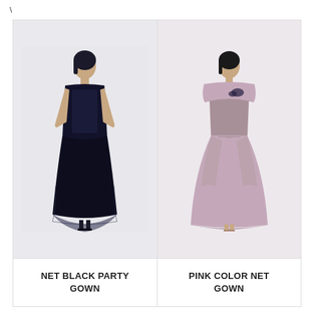\
[Figure (photo): Woman wearing a net black party gown, sleeveless, with sheer overlay at the bottom, against a light background.]
[Figure (photo): Woman wearing a pink color net gown with off-shoulder cape collar and floral embellishment at the chest, against a light background.]
NET BLACK PARTY GOWN
PINK COLOR NET GOWN